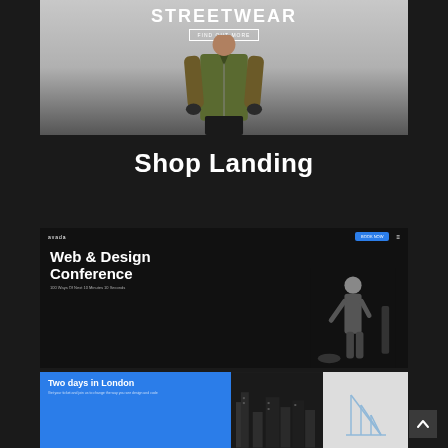[Figure (screenshot): Screenshot of a streetwear shop website showing a person in a khaki/olive bomber jacket with the text STREETWEAR in bold white letters at the top]
Shop Landing
[Figure (screenshot): Screenshot of a Web & Design Conference website with dark background, showing bold white heading 'Web & Design Conference', a navigation bar with a blue button, and a figure of a person presenting on stage]
[Figure (screenshot): Partial screenshot showing three panels: a blue panel with 'Two days in London' text, a dark cityscape panel, and a white panel with a geometric/architectural illustration. A scroll-up arrow button visible in the bottom right.]